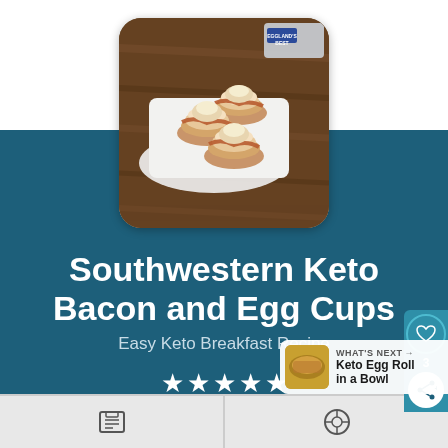[Figure (photo): Southwestern Keto Bacon and Egg Cups arranged on a white rectangular plate on a wooden surface, with Eggland's Best egg carton in the background]
Southwestern Keto Bacon and Egg Cups
Easy Keto Breakfast Recipe
★★★★★ 5 from 3 votes
WHAT'S NEXT → Keto Egg Roll in a Bowl